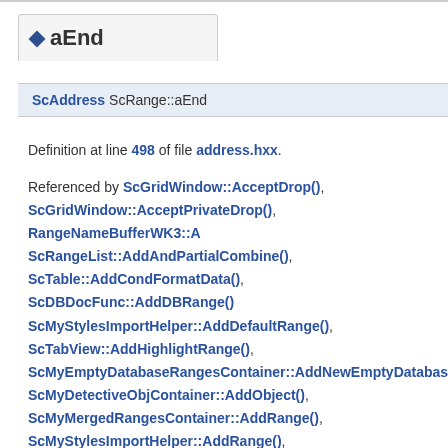aEnd
ScAddress ScRange::aEnd
Definition at line 498 of file address.hxx.
Referenced by ScGridWindow::AcceptDrop(), ScGridWindow::AcceptPrivateDrop(), RangeNameBufferWK3::A ScRangeList::AddAndPartialCombine(), ScTable::AddCondFormatData(), ScDBDocFunc::AddDBRange(), ScMyStylesImportHelper::AddDefaultRange(), ScTabView::AddHighlightRange(), ScMyEmptyDatabaseRangesContainer::AddNewEmptyDatabase ScMyDetectiveObjContainer::AddObject(), ScMyMergedRangesContainer::AddRange(), ScMyStylesImportHelper::AddRange(), XclExpPivotCache::AddStdFields(), ScTransferObj::AddSupportedFormats(),